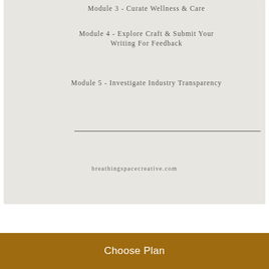Module 3 - Curate Wellness & Care
Module 4 - Explore Craft & Submit Your Writing For Feedback
Module 5 - Investigate Industry Transparency
breathingspacecreative.com
[Figure (illustration): Dark green card with inner cream/pink card showing partial text 'Craft Course: write' for a creative writing course]
Choose Plan